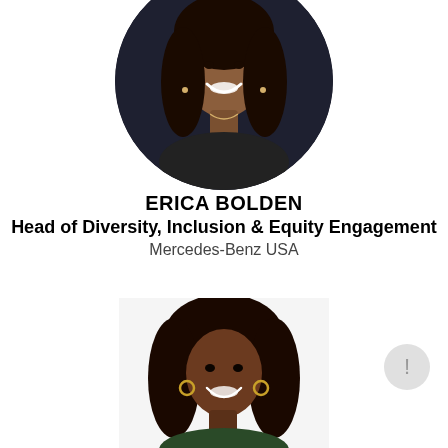[Figure (photo): Circular headshot portrait of Erica Bolden, smiling woman with long dark hair, wearing a necklace, against a dark background]
ERICA BOLDEN
Head of Diversity, Inclusion & Equity Engagement
Mercedes-Benz USA
[Figure (photo): Portrait photo of second woman, smiling, with shoulder-length dark hair, wearing hoop earrings and a dark green top, white background]